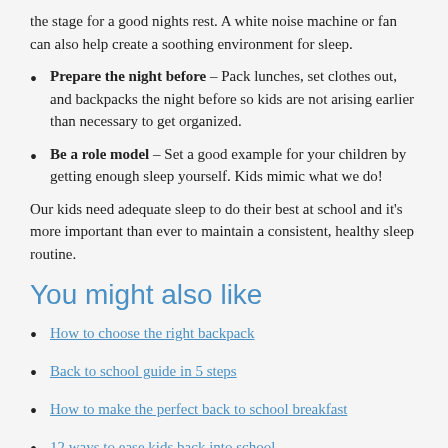the stage for a good nights rest. A white noise machine or fan can also help create a soothing environment for sleep.
Prepare the night before – Pack lunches, set clothes out, and backpacks the night before so kids are not arising earlier than necessary to get organized.
Be a role model – Set a good example for your children by getting enough sleep yourself. Kids mimic what we do!
Our kids need adequate sleep to do their best at school and it's more important than ever to maintain a consistent, healthy sleep routine.
You might also like
How to choose the right backpack
Back to school guide in 5 steps
How to make the perfect back to school breakfast
12 ways to ease kids back into school